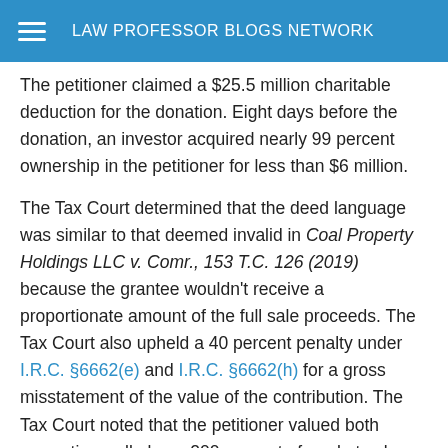LAW PROFESSOR BLOGS NETWORK
The petitioner claimed a $25.5 million charitable deduction for the donation. Eight days before the donation, an investor acquired nearly 99 percent ownership in the petitioner for less than $6 million.
The Tax Court determined that the deed language was similar to that deemed invalid in Coal Property Holdings LLC v. Comr., 153 T.C. 126 (2019) because the grantee wouldn't receive a proportionate amount of the full sale proceeds. The Tax Court also upheld a 40 percent penalty under I.R.C. §6662(e) and I.R.C. §6662(h) for a gross misstatement of the value of the contribution. The Tax Court noted that the petitioner valued both properties well above 200 percent of market value, the cut-line for the gross misstatement penalty. One parcel was valued a$10.9 million, or 852 percent of its correct value. The other easement